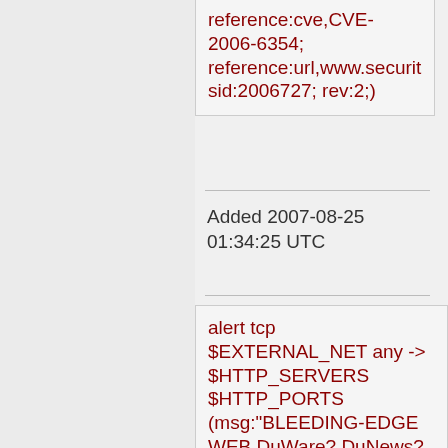reference:cve,CVE-2006-6354; reference:url,www.securit sid:2006727; rev:2;)
Added 2007-08-25 01:34:25 UTC
alert tcp $EXTERNAL_NET any -> $HTTP_SERVERS $HTTP_PORTS (msg:"BLEEDING-EDGE WEB DuWare? DuNews? SQL Injection Attempt -- detail.asp Action DELETE"; flow:established,to_serve